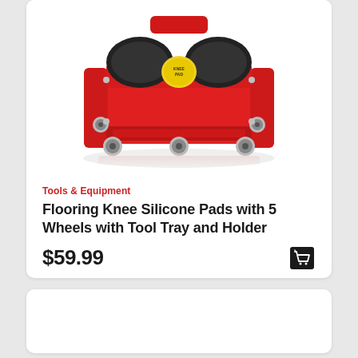[Figure (photo): A red flooring knee pad creeper with black silicone knee pads, 5 wheels, a tool tray, and a yellow product sticker. The product is photographed on a white background with a slight reflection.]
Tools & Equipment
Flooring Knee Silicone Pads with 5 Wheels with Tool Tray and Holder
$59.99